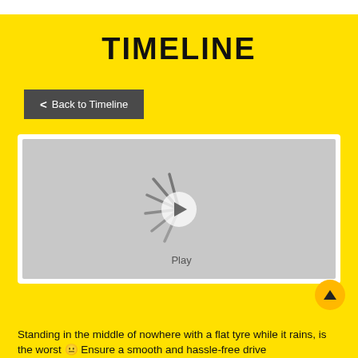TIMELINE
< Back to Timeline
[Figure (screenshot): Video player placeholder with grey background, a white circle play button in the center, radiating lines like a loading spinner, and a 'Play' label below the button.]
Standing in the middle of nowhere with a flat tyre while it rains, is the worst 😐 Ensure a smooth and hassle-free drive